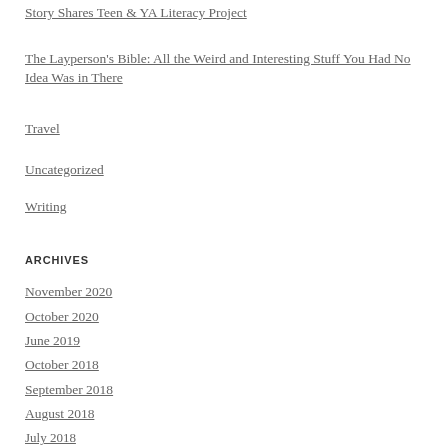Story Shares Teen & YA Literacy Project
The Layperson's Bible: All the Weird and Interesting Stuff You Had No Idea Was in There
Travel
Uncategorized
Writing
ARCHIVES
November 2020
October 2020
June 2019
October 2018
September 2018
August 2018
July 2018
June 2018
May 2018